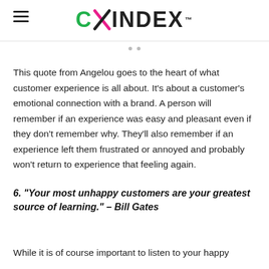CXINDEX™
This quote from Angelou goes to the heart of what customer experience is all about. It's about a customer's emotional connection with a brand. A person will remember if an experience was easy and pleasant even if they don't remember why. They'll also remember if an experience left them frustrated or annoyed and probably won't return to experience that feeling again.
6. "Your most unhappy customers are your greatest source of learning." – Bill Gates
While it is of course important to listen to your happy